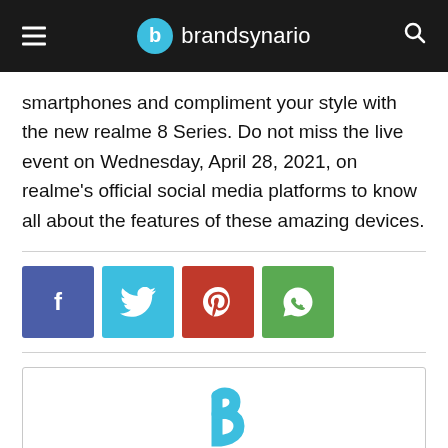brandsynario
smartphones and compliment your style with the new realme 8 Series. Do not miss the live event on Wednesday, April 28, 2021, on realme's official social media platforms to know all about the features of these amazing devices.
[Figure (infographic): Social share buttons: Facebook (blue-purple), Twitter (cyan), Pinterest (red), WhatsApp (green), each with respective icons]
[Figure (logo): Brandsynario logo mark — cyan stylized 'b' letter on white background inside a bordered box]